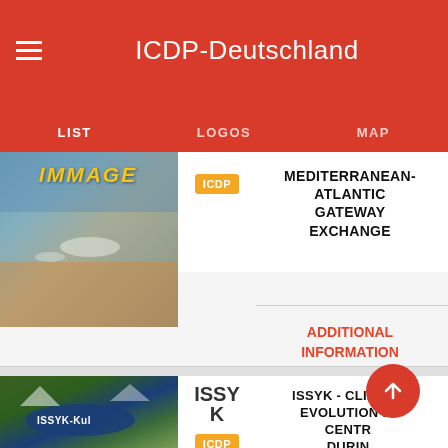ICDP-Deutschland
LIST  LOGOS  MAP
[Figure (photo): Satellite image with IMMAGE text overlay in yellow italic]
ICDP
MEDITERRANEAN-ATLANTIC GATEWAY EXCHANGE
ADDITIONAL INFORMATION
[Figure (photo): Satellite image of Issyk-Kul lake region with ISSYK-Kul label]
ISSY K
ICDP
ISSYK - CLIMATE EVOLUTION IN CENTR... DURIN... PAST FEW MILLENNI...